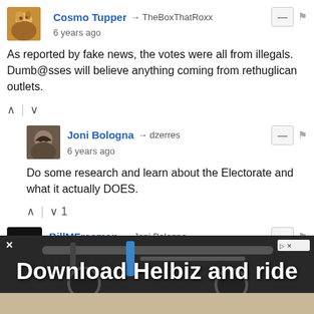Cosmo Tupper → TheBoxThatRoxx
6 years ago
As reported by fake news, the votes were all from illegals. Dumb@sses will believe anything coming from rethuglican outlets.
Joni Bologna → dzerres
6 years ago
Do some research and learn about the Electorate and what it actually DOES.
BillMFreeman → Joni Bologna
6 years ago
Joni needs to do some research and learn what the word "electorate" means. Typical uneducated Trump supporter.
[Figure (screenshot): Ad banner: Download Helbiz and ride, showing scooter handlebar image]